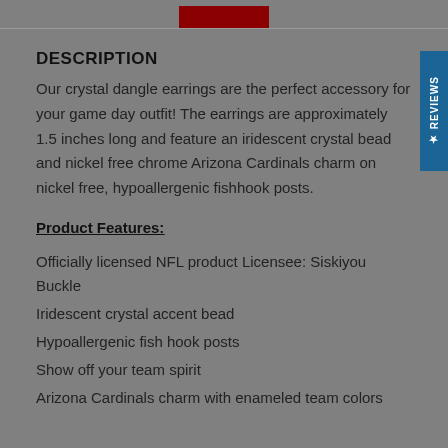[Figure (other): Partial red box visible at top, product image cropped]
DESCRIPTION
Our crystal dangle earrings are the perfect accessory for your game day outfit! The earrings are approximately 1.5 inches long and feature an iridescent crystal bead and nickel free chrome Arizona Cardinals charm on nickel free, hypoallergenic fishhook posts.
Product Features:
Officially licensed NFL product Licensee: Siskiyou Buckle
Iridescent crystal accent bead
Hypoallergenic fish hook posts
Show off your team spirit
Arizona Cardinals charm with enameled team colors